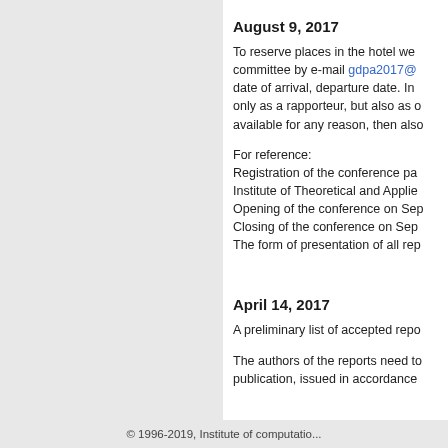August 9, 2017
To reserve places in the hotel we ask you to contact the organizing committee by e-mail gdpa2017@... Please inform us about the date of arrival, departure date. In case you are going to participate not only as a rapporteur, but also as o... available for any reason, then also...
For reference:
Registration of the conference pa...
Institute of Theoretical and Applie...
Opening of the conference on Sep...
Closing of the conference on Sep...
The form of presentation of all rep...
April 14, 2017
A preliminary list of accepted repo...
The authors of the reports need to... publication, issued in accordance...
© 1996-2019, Institute of computatio...